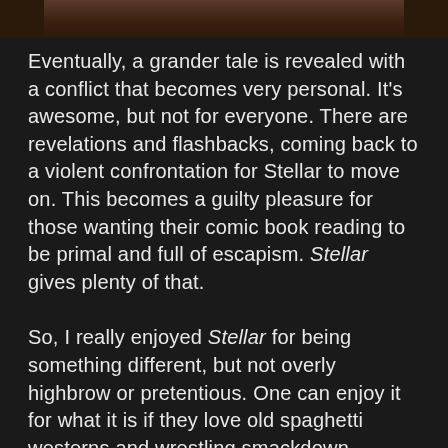[Figure (illustration): Top portion of a comic book illustration, cropped at the bottom edge of the frame, showing figures on a dark background.]
Eventually, a grander tale is revealed with a conflict that becomes very personal. It's awesome, but not for everyone. There are revelations and flashbacks, coming back to a violent confrontation for Stellar to move on. This becomes a guilty pleasure for those wanting their comic book reading to be primal and full of escapism. Stellar gives plenty of that.
So, I really enjoyed Stellar for being something different, but not overly highbrow or pretentious. One can enjoy it for what it is if they love old spaghetti westerns and wrestling smackdown melodramas. The art with awesome colors makes it all better.
However, some of that action results in some gory, violent results. If thrilled by that, then dig in for a good helping. It's not constant, but such moments can be